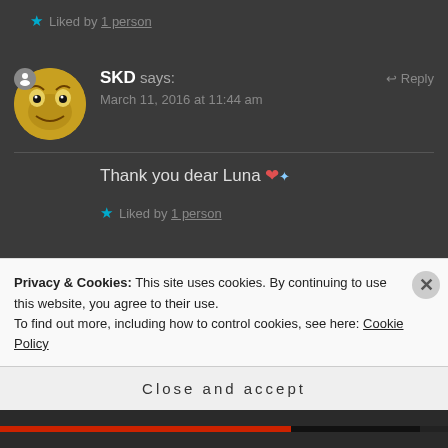Liked by 1 person
SKD says: March 11, 2016 at 11:44 am | Reply
Thank you dear Luna 💗✨
Liked by 1 person
Privacy & Cookies: This site uses cookies. By continuing to use this website, you agree to their use. To find out more, including how to control cookies, see here: Cookie Policy
Close and accept